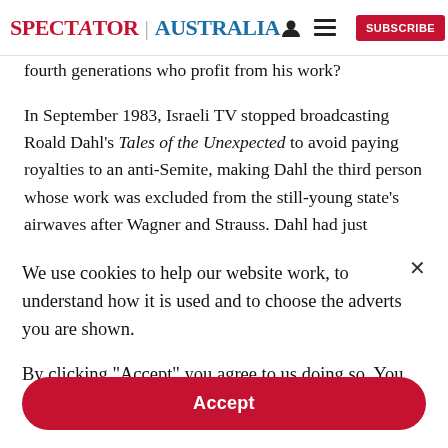SPECTATOR | AUSTRALIA  [person icon] [menu icon]  SUBSCRIBE
fourth generations who profit from his work?
In September 1983, Israeli TV stopped broadcasting Roald Dahl's Tales of the Unexpected to avoid paying royalties to an anti-Semite, making Dahl the third person whose work was excluded from the still-young state's airwaves after Wagner and Strauss. Dahl had just
We use cookies to help our website work, to understand how it is used and to choose the adverts you are shown.
By clicking "Accept" you agree to us doing so. You can read more in our privacy policy.
Accept